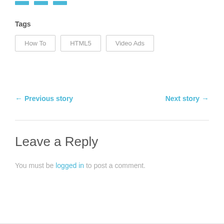Tags
How To
HTML5
Video Ads
← Previous story
Next story →
Leave a Reply
You must be logged in to post a comment.